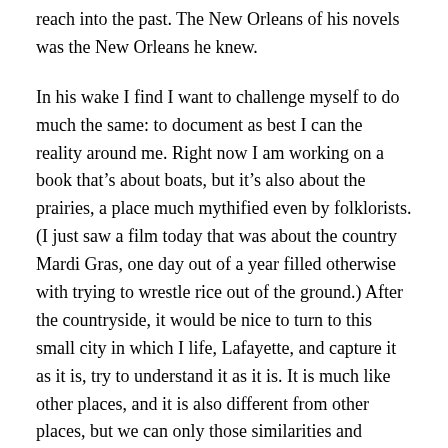reach into the past. The New Orleans of his novels was the New Orleans he knew.
In his wake I find I want to challenge myself to do much the same: to document as best I can the reality around me. Right now I am working on a book that’s about boats, but it’s also about the prairies, a place much mythified even by folklorists. (I just saw a film today that was about the country Mardi Gras, one day out of a year filled otherwise with trying to wrestle rice out of the ground.) After the countryside, it would be nice to turn to this small city in which I life, Lafayette, and capture it as it is, try to understand it as it is. It is much like other places, and it is also different from other places, but we can only those similarities and differences if we actually document them. Otherwise we are only working from a collection of so many personal anecdotes, which is poor stuff compared to a more organized study.